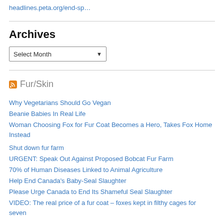headlines.peta.org/end-sp…
Archives
Select Month (dropdown)
Fur/Skin
Why Vegetarians Should Go Vegan
Beanie Babies In Real Life
Woman Choosing Fox for Fur Coat Becomes a Hero, Takes Fox Home Instead
Shut down fur farm
URGENT: Speak Out Against Proposed Bobcat Fur Farm
70% of Human Diseases Linked to Animal Agriculture
Help End Canada's Baby-Seal Slaughter
Please Urge Canada to End Its Shameful Seal Slaughter
VIDEO: The real price of a fur coat – foxes kept in filthy cages for seven